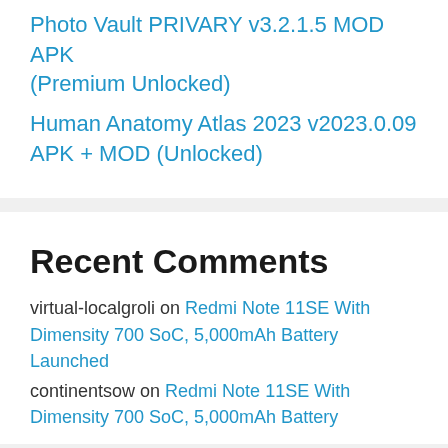Photo Vault PRIVARY v3.2.1.5 MOD APK (Premium Unlocked)
Human Anatomy Atlas 2023 v2023.0.09 APK + MOD (Unlocked)
Recent Comments
virtual-localgroli on Redmi Note 11SE With Dimensity 700 SoC, 5,000mAh Battery Launched
continentsow on Redmi Note 11SE With Dimensity 700 SoC, 5,000mAh Battery